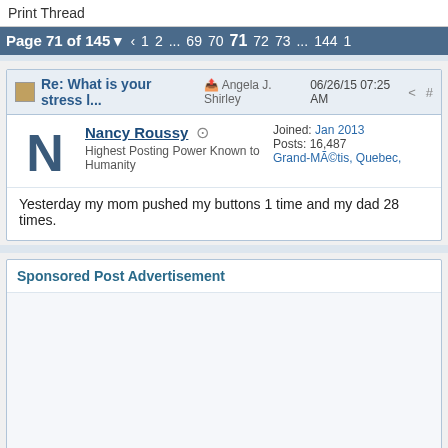Print Thread
Page 71 of 145   ‹  1  2  ...  69  70  71  72  73  ...  144  1
Re: What is your stress l...  Angela J. Shirley  06/26/15 07:25 AM
Nancy Roussy
Highest Posting Power Known to Humanity
Joined: Jan 2013
Posts: 16,487
Grand-Métis, Quebec,
Yesterday my mom pushed my buttons 1 time and my dad 28 times.
Sponsored Post Advertisement